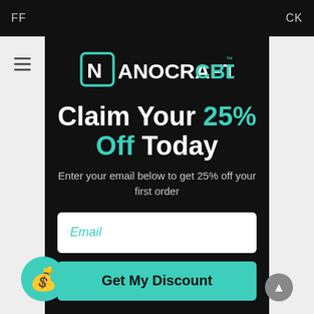[Figure (logo): NanoCraft CBD logo in teal/white on dark background]
Claim Your 25% Off Today
Enter your email below to get 25% off your first order
Email
Get My Discount